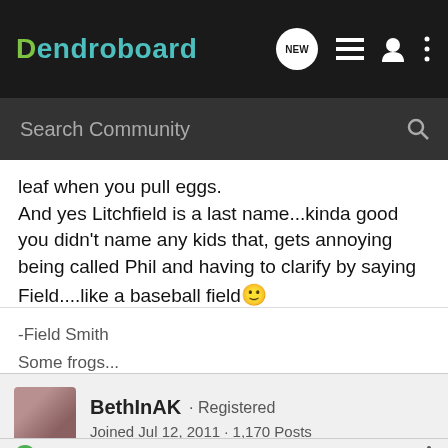Dendroboard — navigation bar with NEW, list, user, and menu icons; Search Community search bar
leaf when you pull eggs.
And yes Litchfield is a last name...kinda good you didn't name any kids that, gets annoying being called Phil and having to clarify by saying Field....like a baseball field 🙂
-Field Smith
Some frogs...
BethInAK · Registered
Joined Jul 12, 2011 · 1,170 Posts
Discussion Starter · #7 · Sep 16, 2011